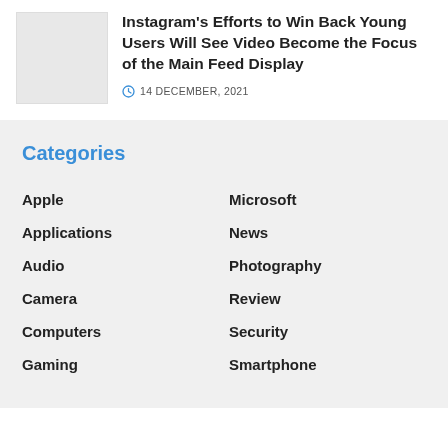[Figure (photo): Thumbnail image placeholder (gray box)]
Instagram's Efforts to Win Back Young Users Will See Video Become the Focus of the Main Feed Display
14 DECEMBER, 2021
Categories
Apple
Microsoft
Applications
News
Audio
Photography
Camera
Review
Computers
Security
Gaming
Smartphone